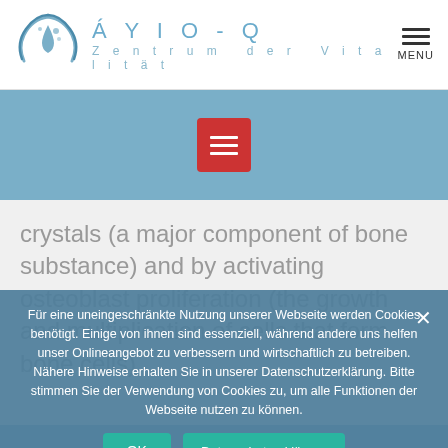ÁYIO-Q Zentrum der Vitalität
[Figure (logo): ÁYIO-Q logo with blue water droplet and hands icon]
[Figure (other): Red menu button with three white horizontal lines on blue background bar]
crystals (a major component of bone substance) and by activating osteoblast proliferation (the growth and multiplication of cells that form bone cells).
Für eine uneingeschränkte Nutzung unserer Webseite werden Cookies benötigt. Einige von ihnen sind essenziell, während andere uns helfen unser Onlineangebot zu verbessern und wirtschaftlich zu betreiben. Nähere Hinweise erhalten Sie in unserer Datenschutzerklärung. Bitte stimmen Sie der Verwendung von Cookies zu, um alle Funktionen der Webseite nutzen zu können.
OK   Datenschutzerklärung